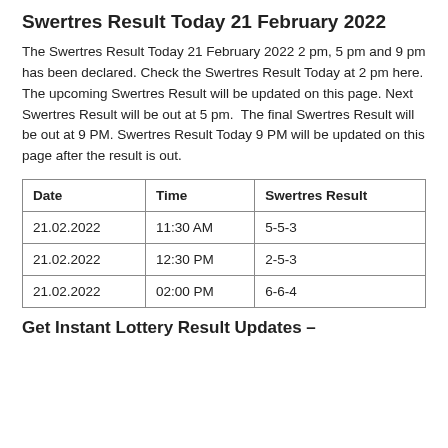Swertres Result Today 21 February 2022
The Swertres Result Today 21 February 2022 2 pm, 5 pm and 9 pm has been declared. Check the Swertres Result Today at 2 pm here. The upcoming Swertres Result will be updated on this page. Next Swertres Result will be out at 5 pm.  The final Swertres Result will be out at 9 PM. Swertres Result Today 9 PM will be updated on this page after the result is out.
| Date | Time | Swertres Result |
| --- | --- | --- |
| 21.02.2022 | 11:30 AM | 5-5-3 |
| 21.02.2022 | 12:30 PM | 2-5-3 |
| 21.02.2022 | 02:00 PM | 6-6-4 |
Get Instant Lottery Result Updates –